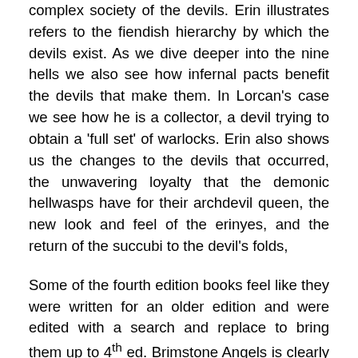complex society of the devils. Erin illustrates refers to the fiendish hierarchy by which the devils exist. As we dive deeper into the nine hells we also see how infernal pacts benefit the devils that make them. In Lorcan's case we see how he is a collector, a devil trying to obtain a 'full set' of warlocks. Erin also shows us the changes to the devils that occurred, the unwavering loyalty that the demonic hellwasps have for their archdevil queen, the new look and feel of the erinyes, and the return of the succubi to the devil's folds,
Some of the fourth edition books feel like they were written for an older edition and were edited with a search and replace to bring them up to 4th ed. Brimstone Angels is clearly a book written for the 4th edition and only for the 4th edition. It is an amazing book with a mind blowing prologue. It's rare that I have ever been so quickly hooked